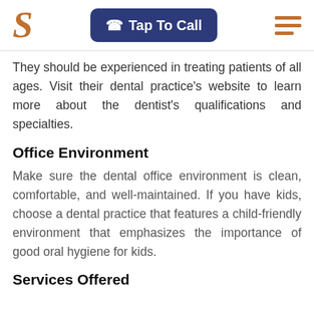S | Tap To Call | (menu)
They should be experienced in treating patients of all ages. Visit their dental practice's website to learn more about the dentist's qualifications and specialties.
Office Environment
Make sure the dental office environment is clean, comfortable, and well-maintained. If you have kids, choose a dental practice that features a child-friendly environment that emphasizes the importance of good oral hygiene for kids.
Services Offered